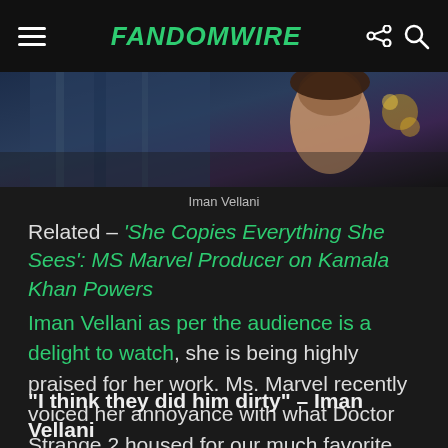FandomWire
[Figure (photo): Photo of Iman Vellani, partially cropped at top]
Iman Vellani
Related – 'She Copies Everything She Sees': MS Marvel Producer on Kamala Khan Powers
Iman Vellani as per the audience is a delight to watch, she is being highly praised for her work. Ms. Marvel recently voiced her annoyance with what Doctor Strange 2 housed for our much favorite Illuminati, Black Bolt.
“I think they did him dirty” – Iman Vellani